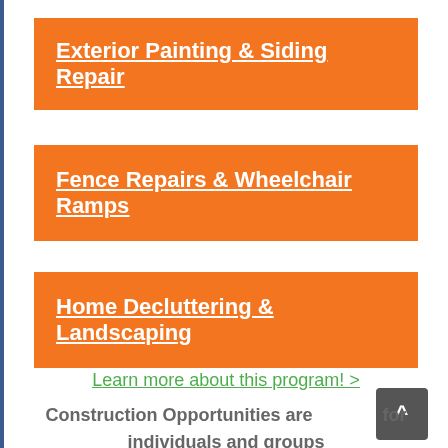Exterior Painting & Siding Repair
Fence Repairs & Wheelchair Ramps
Home Decluttering & Landscaping
Learn more about this program! >
Construction Opportunities are open for individuals and groups